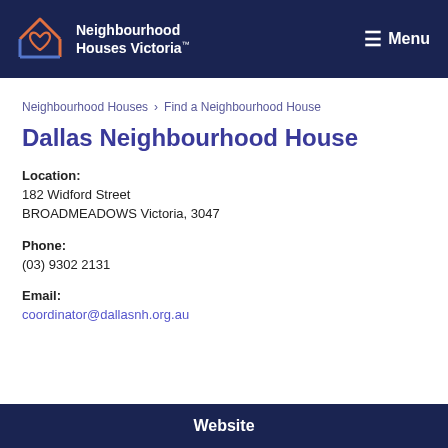Neighbourhood Houses Victoria™  Menu
Neighbourhood Houses > Find a Neighbourhood House
Dallas Neighbourhood House
Location:
182 Widford Street
BROADMEADOWS Victoria, 3047
Phone:
(03) 9302 2131
Email:
coordinator@dallasnh.org.au
Website